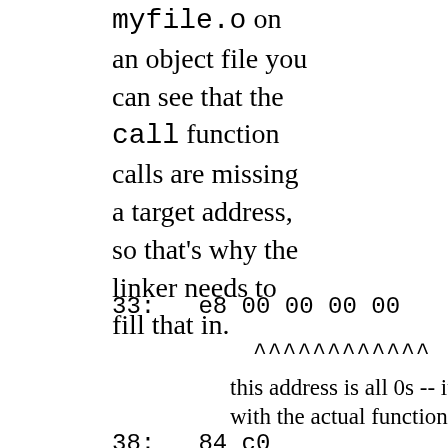myfile.o on an object file you can see that the call function calls are missing a target address, so that's why the linker needs to fill that in.
33:   e8 00 00 00 00          call   38
          ^^^^^^^^^^^^
                this address is all 0s -- it needs to be f
                with the actual function that's going to
38:   84 c0                   test   %al,%al